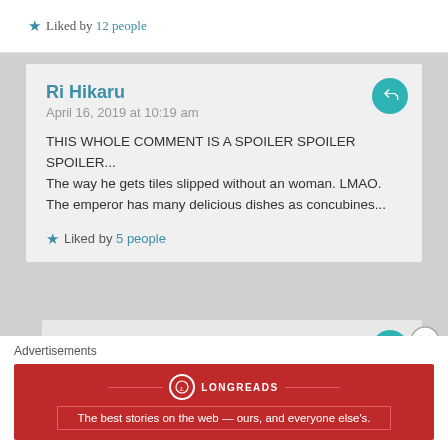★ Liked by 12 people
Ri Hikaru
April 16, 2019 at 10:19 am
THIS WHOLE COMMENT IS A SPOILER SPOILER SPOILER...
The way he gets tiles slipped without an woman. LMAO. The emperor has many delicious dishes as concubines...
★ Liked by 5 people
EurikaYamato
April 16, 2019 at 1:04 pm
Advertisements
[Figure (infographic): Longreads advertisement banner: red background, Longreads logo, tagline 'The best stories on the web — ours, and everyone else's.']